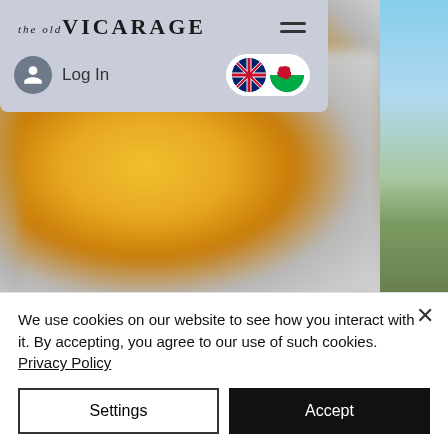[Figure (screenshot): The Old Vicarage website navigation overlay with logo, hamburger menu, login button, and UK/Wales language toggle on a blue-grey background]
[Figure (photo): Blurred close-up food photo (golden/yellow objects on a plate) on left side of page]
[Figure (photo): Aerial landscape photo with blue sky and green terrain on the right side of the page]
We use cookies on our website to see how you interact with it. By accepting, you agree to our use of such cookies. Privacy Policy
Settings
Accept